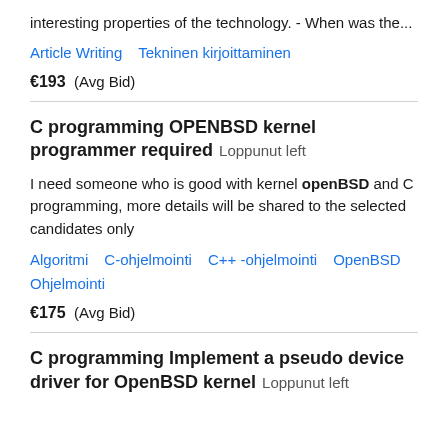interesting properties of the technology. - When was the...
Article Writing   Tekninen kirjoittaminen
€193  (Avg Bid)
C programming OPENBSD kernel programmer required  Loppunut left
I need someone who is good with kernel openBSD and C programming, more details will be shared to the selected candidates only
Algoritmi  C-ohjelmointi  C++ -ohjelmointi  OpenBSD  Ohjelmointi
€175  (Avg Bid)
C programming Implement a pseudo device driver for OpenBSD kernel  Loppunut left